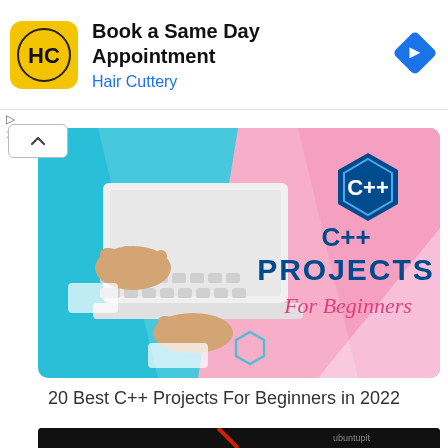[Figure (screenshot): Hair Cuttery advertisement banner: yellow HC logo icon, 'Book a Same Day Appointment' headline in bold, 'Hair Cuttery' subtitle in blue, blue diamond navigation arrow icon on right]
[Figure (illustration): C++ Projects For Beginners thumbnail: person typing on white laptop on teal/cyan background, right side pink/gradient with C++ hexagon logo in blue, text 'C++ PROJECTS For Beginners' in blue and pink cursive]
20 Best C++ Projects For Beginners in 2022
[Figure (screenshot): Bottom thumbnail partially visible: dark background with C++ and Python logos, red diagonal streak, 'ubuntupit' watermark top right]